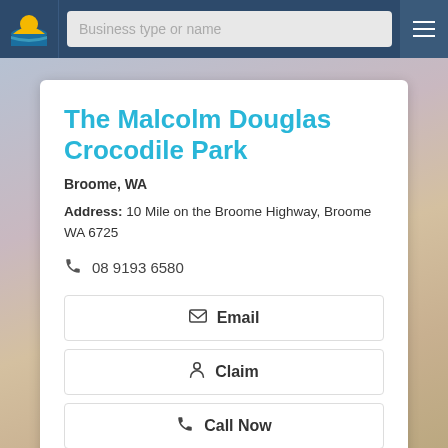[Figure (screenshot): Website navigation bar with logo, search field 'Business type or name', and hamburger menu button]
The Malcolm Douglas Crocodile Park
Broome, WA
Address: 10 Mile on the Broome Highway, Broome WA 6725
08 9193 6580
Email
Claim
Call Now